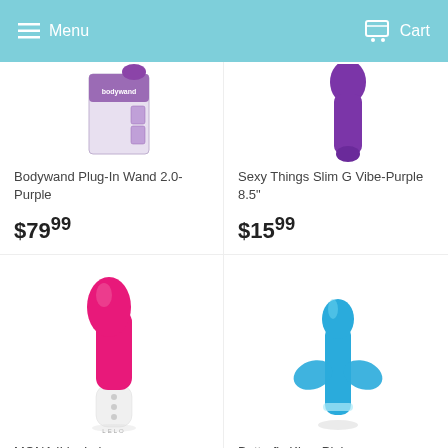Menu  Cart
[Figure (photo): Bodywand Plug-In Wand 2.0-Purple product image (partially visible, top portion of box)]
Bodywand Plug-In Wand 2.0-Purple
$79.99
[Figure (photo): Sexy Things Slim G Vibe-Purple 8.5" product image (partially visible, purple device tip)]
Sexy Things Slim G Vibe-Purple 8.5"
$15.99
[Figure (photo): MONA II by Lelo product image - pink curved vibrator with white base, LELO branding visible]
MONA II by Lelo
[Figure (photo): Butterfly Kiss- Pink product image - blue butterfly vibrator]
Butterfly Kiss- Pink